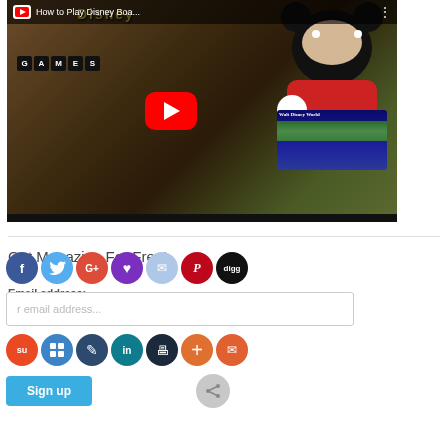[Figure (screenshot): YouTube video thumbnail showing Mickey Mouse plush holding a Walt Disney World board game box, with Disney Games scrabble letter tiles in foreground and a red YouTube play button overlay. Title reads 'How to Play Disney Boa...']
Get Magazine For Free!
Email address:
[Figure (infographic): Two rows of social media sharing buttons (circles): Row 1: Facebook (blue), Twitter (light blue), Google+ (red), Heart/Loveit (purple), Message (light blue), Pinterest (red), Digg (black). Row 2: StumbleUpon (orange-red), Delicious (blue), Edit (dark blue), LinkedIn (teal), Print (dark), Plus (orange), Email (orange). Below: email input field, Sign up button (blue), and a share icon circle (gray).]